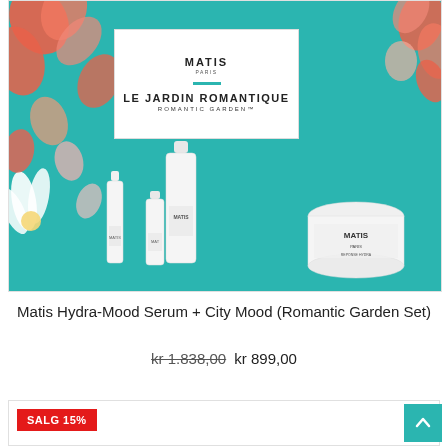[Figure (photo): Matis Le Jardin Romantique / Romantic Garden gift set box with teal floral background, alongside white skincare product bottles and a jar with Matis branding]
Matis Hydra-Mood Serum + City Mood (Romantic Garden Set)
kr 1.838,00 kr 899,00
SALG 15%